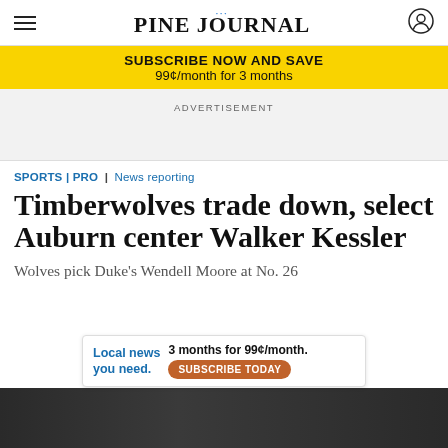Pine Journal
SUBSCRIBE NOW AND SAVE 99¢/month for 3 months
ADVERTISEMENT
SPORTS | PRO | News reporting
Timberwolves trade down, select Auburn center Walker Kessler
Wolves pick Duke's Wendell Moore at No. 26
[Figure (photo): Dark photo strip at bottom of page showing partial image]
Local news you need. 3 months for 99¢/month. SUBSCRIBE TODAY